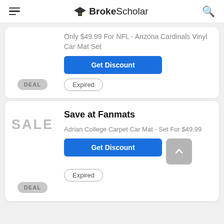BrokeScholar
Only $49.99 For NFL - Arizona Cardinals Vinyl Car Mat Set
Get Discount
Expired
DEAL
Save at Fanmats
Adrian College Carpet Car Mat - Set For $49.99
Get Discount
Expired
DEAL